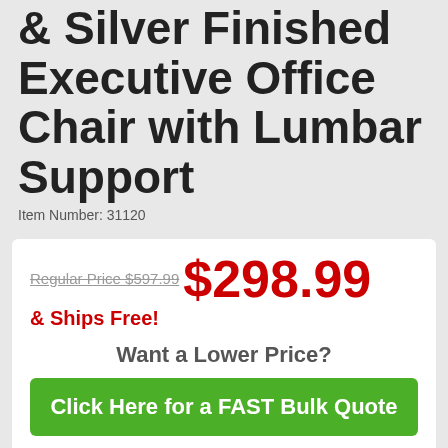& Silver Finished Executive Office Chair with Lumbar Support
Item Number: 31120
Regular Price $597.99 $298.99
& Ships Free!
Want a Lower Price?
Click Here for a FAST Bulk Quote
1
Add to Cart